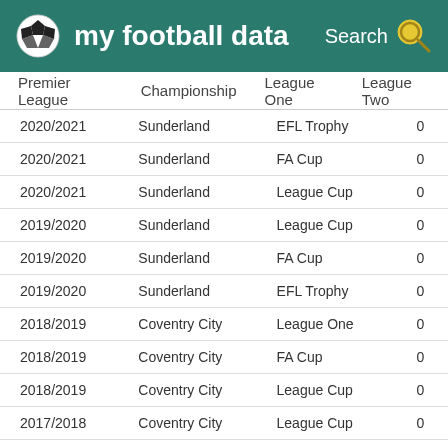my football data
| Premier League | Championship | League One | League Two |
| --- | --- | --- | --- |
| 2020/2021 | Sunderland | EFL Trophy | 0 |
| 2020/2021 | Sunderland | FA Cup | 0 |
| 2020/2021 | Sunderland | League Cup | 0 |
| 2019/2020 | Sunderland | League Cup | 0 |
| 2019/2020 | Sunderland | FA Cup | 0 |
| 2019/2020 | Sunderland | EFL Trophy | 0 |
| 2018/2019 | Coventry City | League One | 0 |
| 2018/2019 | Coventry City | FA Cup | 0 |
| 2018/2019 | Coventry City | League Cup | 0 |
| 2017/2018 | Coventry City | League Cup | 0 |
| 2017/2018 | Coventry City | League Two | 0 |
| 2017/2018 | Coventry City | EFL Trophy | 0 |
| 2017/2018 | Coventry City | FA Cup | 0 |
| 2016/2017 | Coventry City | EFL Trophy | 0 |
| 2016/2017 | Coventry City | League One | 0 |
| 2016/2017 | Coventry City | League Cup | 0 |
| 2016/2017 | Coventry City | FA Cup | 0 |